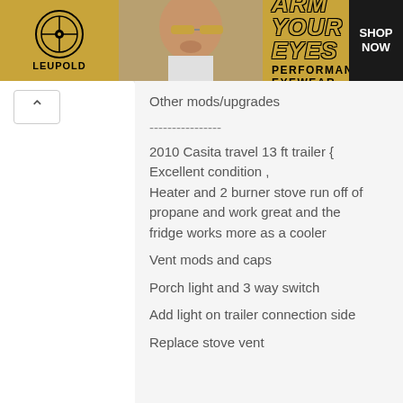[Figure (illustration): Leupold performance eyewear advertisement banner with logo, person wearing sunglasses, headline 'ARM YOUR EYES', subtext 'PERFORMANCE EYEWEAR', and 'SHOP NOW' button]
Other mods/upgrades
----------------
2010 Casita travel 13 ft trailer { Excellent condition , Heater and 2 burner stove run off of propane and work great and the fridge works more as a cooler
Vent mods and caps
Porch light and 3 way switch
Add light on trailer connection side
Replace stove vent